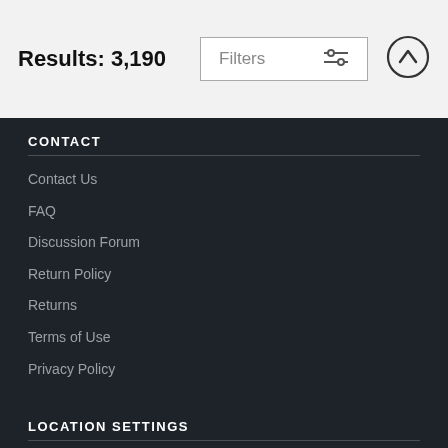Results: 3,190
Filters
CONTACT
Contact Us
FAQ
Discussion Forum
Return Policy
Returns
Terms of Use
Privacy Policy
LOCATION SETTINGS
Beverly Hills, CA (United States)
Currency: USD ($)
Units: Inches
STAY CONNECTED
Sign up for our newsletter for exclusive deals, discount